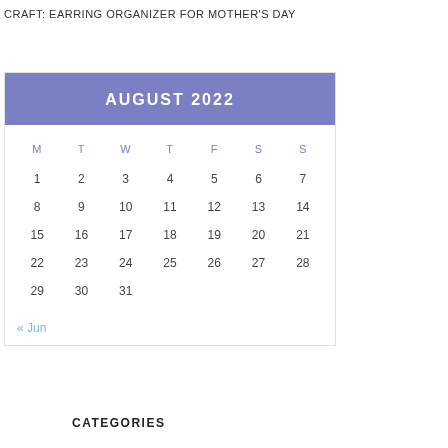CRAFT: EARRING ORGANIZER FOR MOTHER'S DAY
| M | T | W | T | F | S | S |
| --- | --- | --- | --- | --- | --- | --- |
| 1 | 2 | 3 | 4 | 5 | 6 | 7 |
| 8 | 9 | 10 | 11 | 12 | 13 | 14 |
| 15 | 16 | 17 | 18 | 19 | 20 | 21 |
| 22 | 23 | 24 | 25 | 26 | 27 | 28 |
| 29 | 30 | 31 |  |  |  |  |
« Jun
CATEGORIES